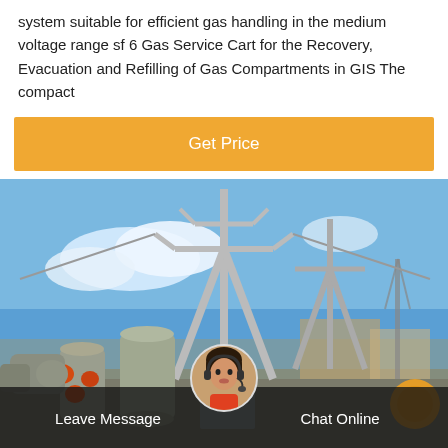system suitable for efficient gas handling in the medium voltage range sf 6 Gas Service Cart for the Recovery, Evacuation and Refilling of Gas Compartments in GIS The compact
[Figure (other): Orange 'Get Price' button]
[Figure (photo): Electrical substation with large metal transmission towers, GIS equipment with cylindrical gas-insulated components in grey with orange fittings, blue sky with clouds, industrial buildings in background. Chat bar overlay at bottom with 'Leave Message' and 'Chat Online' text, and a customer service avatar in the center.]